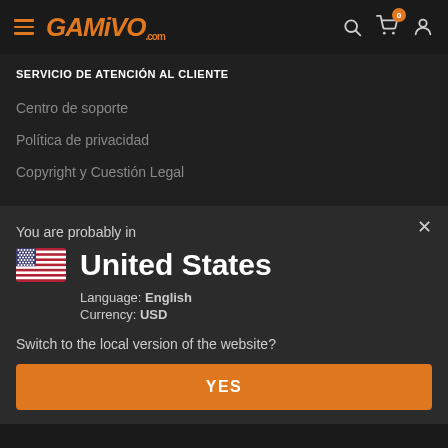GAMIVO.com
SERVICIO DE ATENCIÓN AL CLIENTE
Centro de soporte
Política de privacidad
Copyright y Cuestión Legal
You are probably in
United States
Language: English
Currency: USD
Switch to the local version of the website?
YES